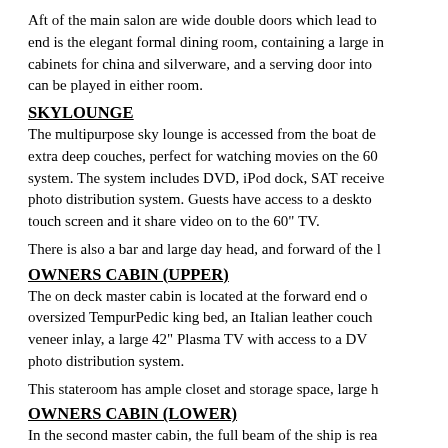Aft of the main salon are wide double doors which lead to end is the elegant formal dining room, containing a large in cabinets for china and silverware, and a serving door into can be played in either room.
SKYLOUNGE
The multipurpose sky lounge is accessed from the boat de extra deep couches, perfect for watching movies on the 60 system. The system includes DVD, iPod dock, SAT receive photo distribution system. Guests have access to a deskto touch screen and it share video on to the 60" TV.
There is also a bar and large day head, and forward of the l
OWNERS CABIN (UPPER)
The on deck master cabin is located at the forward end o oversized TempurPedic king bed, an Italian leather couch veneer inlay, a large 42" Plasma TV with access to a DV photo distribution system.
This stateroom has ample closet and storage space, large h
OWNERS CABIN (LOWER)
In the second master cabin, the full beam of the ship is rea controlled adjustable king bed, two armchairs and a vanity regions 42" flat screen TV drops down from the ceiling. T